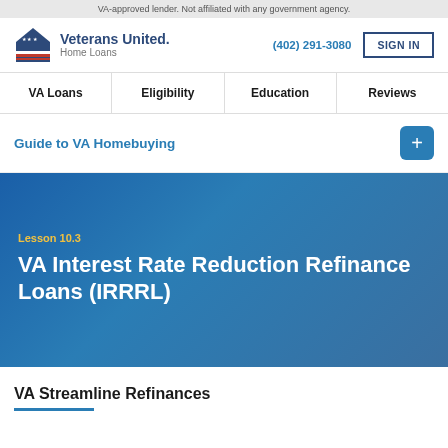VA-approved lender. Not affiliated with any government agency.
[Figure (logo): Veterans United Home Loans logo with house icon and American flag design]
(402) 291-3080
SIGN IN
VA Loans | Eligibility | Education | Reviews
Guide to VA Homebuying
Lesson 10.3
VA Interest Rate Reduction Refinance Loans (IRRRL)
VA Streamline Refinances